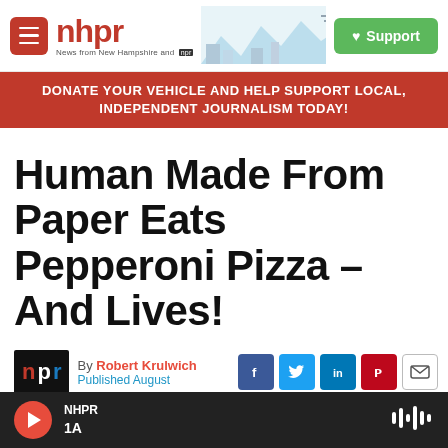nhpr — News from New Hampshire and NPR
DONATE YOUR VEHICLE AND HELP SUPPORT LOCAL, INDEPENDENT JOURNALISM TODAY!
Human Made From Paper Eats Pepperoni Pizza – And Lives!
By Robert Krulwich
Published August